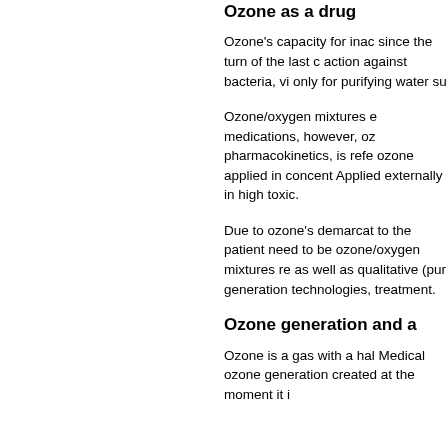Ozone as a drug
Ozone's capacity for inac since the turn of the last c action against bacteria, vi only for purifying water su
Ozone/oxygen mixtures e medications, however, oz pharmacokinetics, is refe ozone applied in concent Applied externally in high toxic.
Due to ozone's demarcat to the patient need to be ozone/oxygen mixtures re as well as qualitative (pur generation technologies, treatment.
Ozone generation and a
Ozone is a gas with a hal Medical ozone generation created at the moment it i